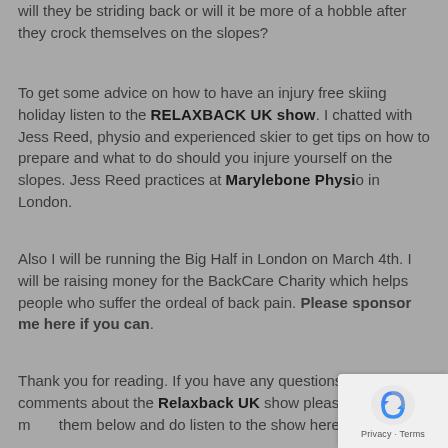will they be striding back or will it be more of a hobble after they crock themselves on the slopes?
To get some advice on how to have an injury free skiing holiday listen to the RELAXBACK UK show. I chatted with Jess Reed, physio and experienced skier to get tips on how to prepare and what to do should you injure yourself on the slopes. Jess Reed practices at Marylebone Physio in London.
Also I will be running the Big Half in London on March 4th. I will be raising money for the BackCare Charity which helps people who suffer the ordeal of back pain. Please sponsor me here if you can.
Thank you for reading. If you have any questions or comments about the Relaxback UK show please ask/ make them below and do listen to the show here.
[Figure (logo): reCAPTCHA badge with Privacy and Terms text]